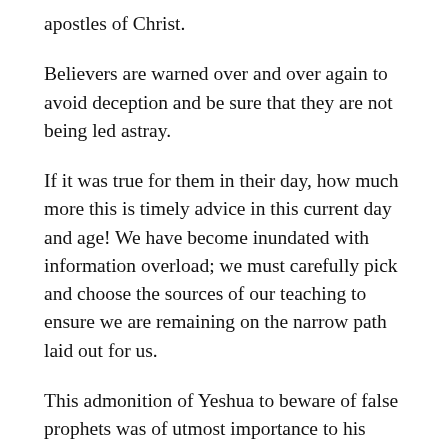apostles of Christ.
Believers are warned over and over again to avoid deception and be sure that they are not being led astray.
If it was true for them in their day, how much more this is timely advice in this current day and age! We have become inundated with information overload; we must carefully pick and choose the sources of our teaching to ensure we are remaining on the narrow path laid out for us.
This admonition of Yeshua to beware of false prophets was of utmost importance to his